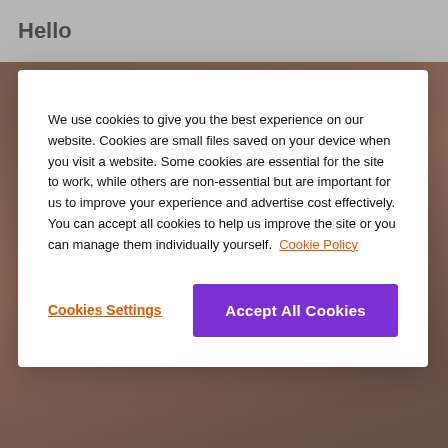Hello
We use cookies to give you the best experience on our website. Cookies are small files saved on your device when you visit a website. Some cookies are essential for the site to work, while others are non-essential but are important for us to improve your experience and advertise cost effectively. You can accept all cookies to help us improve the site or you can manage them individually yourself. Cookie Policy
Cookies Settings
Accept All Cookies
STAY HERE
Light Mothers, or Mamans Lumières are community volunteers in Burundi who are passionate about fighting child hunger and